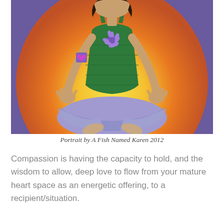[Figure (illustration): A painting of a woman in a yoga/meditation pose (lotus position) wearing a green top and purple pants, with a purple lotus flower symbol on her chest and a purple heart on her upper arm. She is seated against a large circular aura of orange, yellow, and purple colors on a purple background.]
Portrait by A Fish Named Karen 2012
Compassion is having the capacity to hold, and the wisdom to allow, deep love to flow from your mature heart space as an energetic offering, to a recipient/situation.